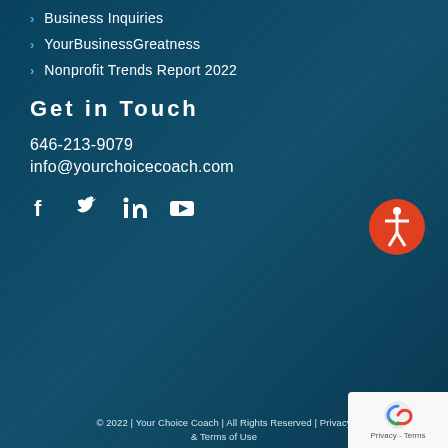Business Inquiries
YourBusinessGreatness
Nonprofit Trends Report 2022
Get in Touch
646-213-9079
info@yourchoicecoach.com
[Figure (illustration): Social media icons: Facebook, Twitter, LinkedIn, YouTube]
[Figure (illustration): Accessibility icon - orange circle with white person figure]
© 2022 | Your Choice Coach | All Rights Reserved | Privacy & Terms of Use